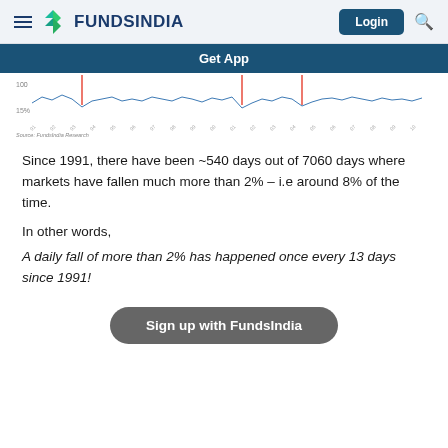FUNDSINDIA | Login
Get App
[Figure (continuous-plot): Partial view of a line/bar chart showing daily market returns from 1991 onwards with red marker lines, axis labels showing 15%, and x-axis with year dates. Source: FundsIndia Research.]
Since 1991, there have been ~540 days out of 7060 days where markets have fallen much more than 2% – i.e around 8% of the time.
In other words,
A daily fall of more than 2% has happened once every 13 days since 1991!
Sign up with FundsIndia